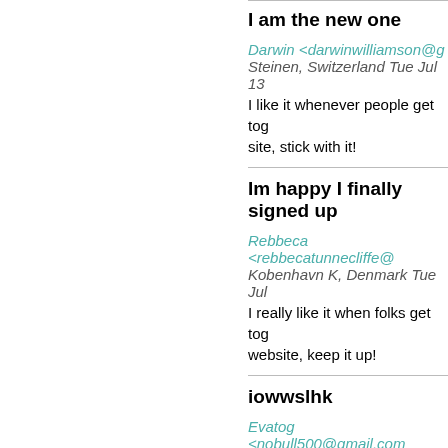I am the new one
Darwin <darwinwilliamson@g... Steinen, Switzerland Tue Jul 13 I like it whenever people get tog... site, stick with it!
Im happy I finally signed up
Rebbeca <rebbecatunnecliffe@... Kobenhavn K, Denmark Tue Jul... I really like it when folks get tog... website, keep it up!
iowwslhk
Evatog <nobull500@gmail.com... New York, USA Tue Jul 13 18:3... [url]=http://ngcialis.com/]cialis n...